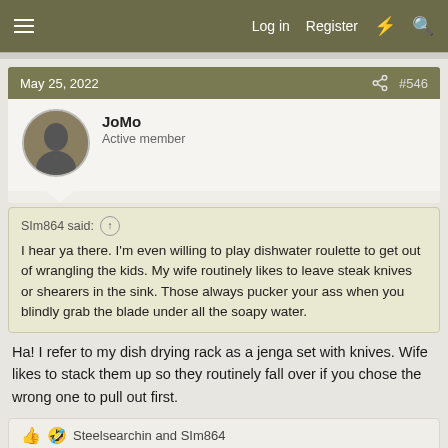Log in  Register  #  Search
May 25, 2022  #546
JoMo
Active member
SIm864 said:
I hear ya there. I'm even willing to play dishwater roulette to get out of wrangling the kids. My wife routinely likes to leave steak knives or shearers in the sink. Those always pucker your ass when you blindly grab the blade under all the soapy water.
Ha! I refer to my dish drying rack as a jenga set with knives. Wife likes to stack them up so they routinely fall over if you chose the wrong one to pull out first.
Steelsearchin and SIm864